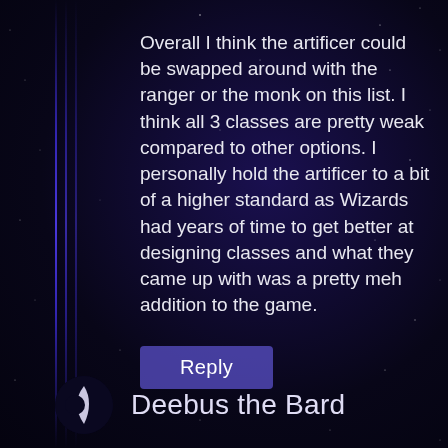Overall I think the artificer could be swapped around with the ranger or the monk on this list. I think all 3 classes are pretty weak compared to other options. I personally hold the artificer to a bit of a higher standard as Wizards had years of time to get better at designing classes and what they came up with was a pretty meh addition to the game.
[Figure (other): Reply button - a rounded rectangle button with purple/blue background and white text reading 'Reply']
Deebus the Bard